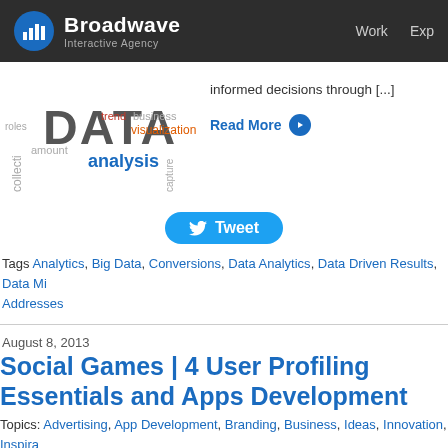Broadwave Interactive Agency — Work Exp
[Figure (illustration): Word cloud featuring the word DATA prominently, with related terms: roles, business, collecti, amount, trend, visualization, analysis, capture]
informed decisions through [...]
Read More
Tweet
Tags Analytics, Big Data, Conversions, Data Analytics, Data Driven Results, Data Mi... Addresses
August 8, 2013
Social Games | 4 User Profiling Essentials and Apps Development
Topics: Advertising, App Development, Branding, Business, Ideas, Innovation, Inspira... Mobile Apps, Sales, Social Media, Strategy, Success, Technology, Web Design
[Figure (photo): Author photo of Jackie Ta — woman with dark hair, smiling, with flowers in background]
By: Jackie Ta